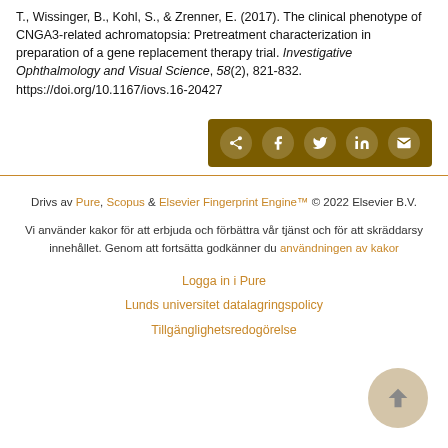T., Wissinger, B., Kohl, S., & Zrenner, E. (2017). The clinical phenotype of CNGA3-related achromatopsia: Pretreatment characterization in preparation of a gene replacement therapy trial. Investigative Ophthalmology and Visual Science, 58(2), 821-832. https://doi.org/10.1167/iovs.16-20427
[Figure (other): Social share bar with icons for share, Facebook, Twitter, LinkedIn, and email on a dark gold/brown background]
Drivs av Pure, Scopus & Elsevier Fingerprint Engine™ © 2022 Elsevier B.V. Vi använder kakor för att erbjuda och förbättra vår tjänst och för att skräddarsy innehållet. Genom att fortsätta godkänner du användningen av kakor
Logga in i Pure
Lunds universitet datalagringspolicy
Tillgänglighetsredogörelse